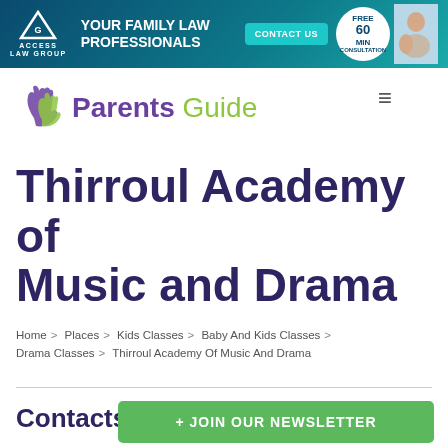[Figure (infographic): Access Law Group banner ad: teal/dark blue gradient background, triangle logo, text YOUR FAMILY LAW PROFESSIONALS, CONTACT US button, FREE 60 MIN CONSULTATION circle, photo of couple]
[Figure (logo): Parents Guide logo with purple and green hands icon and Parents Guide text]
Thirroul Academy of Music and Drama
Home > Places > Kids Classes > Baby And Kids Classes > Drama Classes > Thirroul Academy Of Music And Drama
Contacts
+ JOIN OUR NEWSLETTER